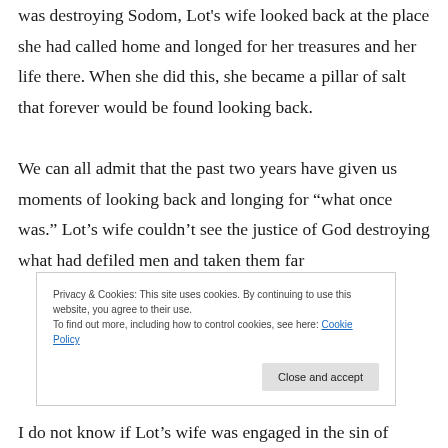was destroying Sodom, Lot's wife looked back at the place she had called home and longed for her treasures and her life there. When she did this, she became a pillar of salt that forever would be found looking back.
We can all admit that the past two years have given us moments of looking back and longing for “what once was.” Lot’s wife couldn’t see the justice of God destroying what had defiled men and taken them far
Privacy & Cookies: This site uses cookies. By continuing to use this website, you agree to their use.
To find out more, including how to control cookies, see here: Cookie Policy
I do not know if Lot’s wife was engaged in the sin of